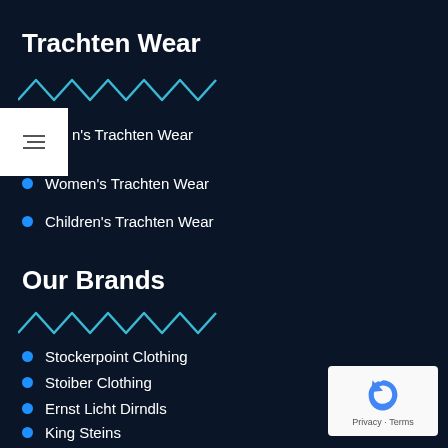Trachten Wear
Men's Trachten Wear
Women's Trachten Wear
Children's Trachten Wear
Our Brands
Stockerpoint Clothing
Stoiber Clothing
Ernst Licht Dirndls
King Steins
Zoller and Born Steins
Black Forest Cuckoo Clocks